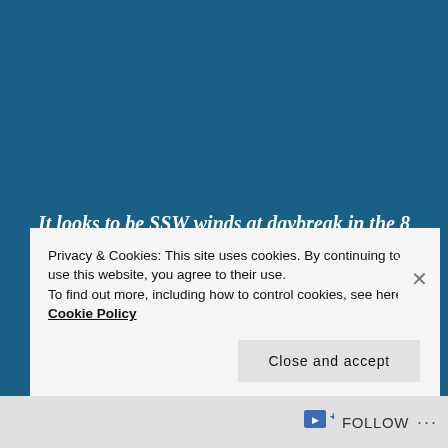It looks to be SSW winds at daybreak in the 8 to 10 mph range, so in Satellite Beach, that is offshore, but for the Cape, that can be sideshore and/or slight offshore, but at 8 to 10 mph, it won't be mirror glass, but still fun! GET OUT EARLY, WHY? IT LOOKS LIKE THE WINDS WILL BE OFFSHORE UNTIL MAYBE 10:00 AM, so don't plan on trying to catch mid-tide at 9 am.
Privacy & Cookies: This site uses cookies. By continuing to use this website, you agree to their use. To find out more, including how to control cookies, see here: Cookie Policy
Close and accept
FOLLOW ...